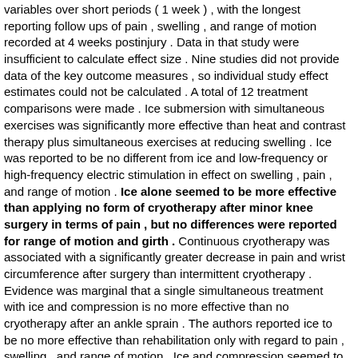variables over short periods ( 1 week ) , with the longest reporting follow ups of pain , swelling , and range of motion recorded at 4 weeks postinjury . Data in that study were insufficient to calculate effect size . Nine studies did not provide data of the key outcome measures , so individual study effect estimates could not be calculated . A total of 12 treatment comparisons were made . Ice submersion with simultaneous exercises was significantly more effective than heat and contrast therapy plus simultaneous exercises at reducing swelling . Ice was reported to be no different from ice and low-frequency or high-frequency electric stimulation in effect on swelling , pain , and range of motion . Ice alone seemed to be more effective than applying no form of cryotherapy after minor knee surgery in terms of pain , but no differences were reported for range of motion and girth . Continuous cryotherapy was associated with a significantly greater decrease in pain and wrist circumference after surgery than intermittent cryotherapy . Evidence was marginal that a single simultaneous treatment with ice and compression is no more effective than no cryotherapy after an ankle sprain . The authors reported ice to be no more effective than rehabilitation only with regard to pain , swelling , and range of motion . Ice and compression seemed to be significantly more effective than ice alone in terms of decreasing pain . Additionally , ice , compression , and a placebo injection reduced pain more than a placebo injection alone . Lastly , in 8 studies , there seemed to be little difference in the effectiveness of ice and compression compared with compression alone . Only 2 of the 8 groups reported significant differences in favor of ice and compression . CONCLUSIONS : Based on the available evidence , cryotherapy seems to be effective in decreasing pain . In comparison with other rehabilitation techniques , the efficacy of cryotherapy has been questioned . [ Sen. 37, subscore: 1.00 ]: Adequate information on the actual surface temperature of the cooling device was not provided in the selected studies . Most authors recorded outcome variables over short periods ( 1